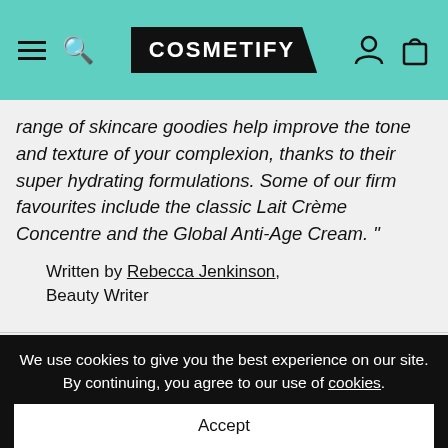[Figure (screenshot): Cosmetify website header with teal/mint background, hamburger menu, search icon on the left, Cosmetify logo in black pentagon shape in the center, person and shopping bag icons on the right]
range of skincare goodies help improve the tone and texture of your complexion, thanks to their super hydrating formulations. Some of our firm favourites include the classic Lait Crème Concentre and the Global Anti-Age Cream. "
Written by Rebecca Jenkinson, Beauty Writer
≡ REFINE | SORT BY ∨
22 products found  Sale items only
We use cookies to give you the best experience on our site. By continuing, you agree to our use of cookies.
Accept